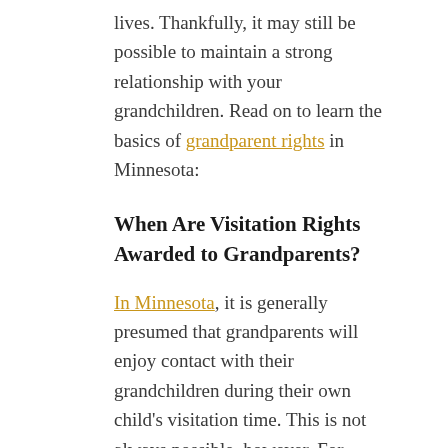lives. Thankfully, it may still be possible to maintain a strong relationship with your grandchildren. Read on to learn the basics of grandparent rights in Minnesota:
When Are Visitation Rights Awarded to Grandparents?
In Minnesota, it is generally presumed that grandparents will enjoy contact with their grandchildren during their own child's visitation time. This is not always possible, however. For example, grandparents may seek visitation rights in court if their grandchild's parent passes away. Likewise, grandparents can obtain visitation rights if their